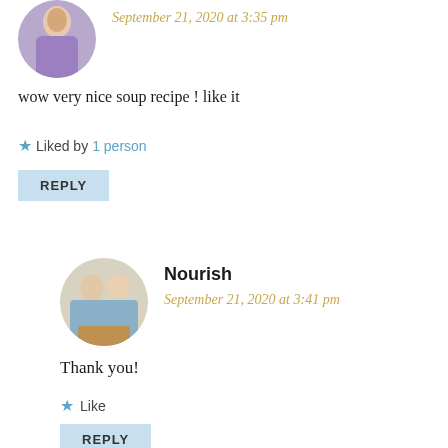[Figure (photo): Circular avatar of a woman in a purple dress]
September 21, 2020 at 3:35 pm
wow very nice soup recipe ! like it
Liked by 1 person
REPLY
[Figure (photo): Circular avatar of two women (Nourish blog authors) holding food]
Nourish
September 21, 2020 at 3:41 pm
Thank you!
Like
REPLY